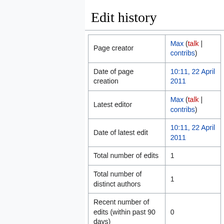Edit history
| Page creator | Max (talk | contribs) |
| Date of page creation | 10:11, 22 April 2011 |
| Latest editor | Max (talk | contribs) |
| Date of latest edit | 10:11, 22 April 2011 |
| Total number of edits | 1 |
| Total number of distinct authors | 1 |
| Recent number of edits (within past 90 days) | 0 |
| Recent number of distinct authors | 0 |